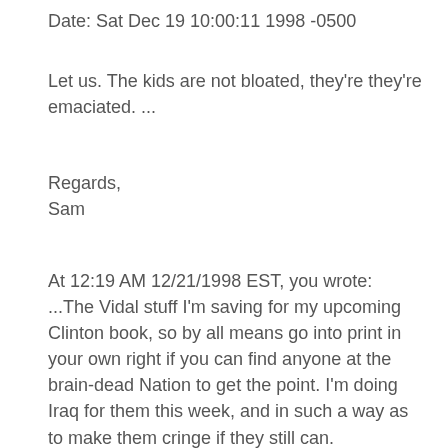Date: Sat Dec 19 10:00:11 1998 -0500
Let us. The kids are not bloated, they're they're emaciated. ...
Regards,
Sam
At 12:19 AM 12/21/1998 EST, you wrote:
...The Vidal stuff I'm saving for my upcoming Clinton book, so by all means go into print in your own right if you can find anyone at the brain-dead Nation to get the point. I'm doing Iraq for them this week, and in such a way as to make them cringe if they still can.
Loved what I heard about your exchange with that pasty idiot EJ Dionne. I shudder to think that we were once